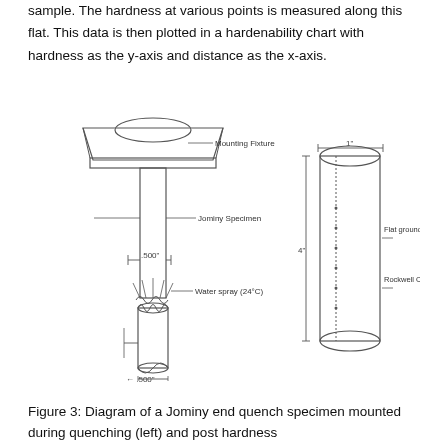sample. The hardness at various points is measured along this flat. This data is then plotted in a hardenability chart with hardness as the y-axis and distance as the x-axis.
[Figure (engineering-diagram): Diagram showing a Jominy end quench specimen mounted in a mounting fixture (left), with water spray at 24°C at the bottom (.500" diameter), and a separate illustration (right) showing the bar with flat ground along bar and Rockwell C hardness test locations, with dimensions 1" width and 4" length.]
Figure 3: Diagram of a Jominy end quench specimen mounted during quenching (left) and post hardness...